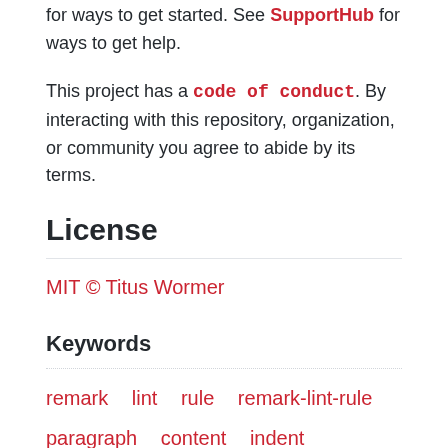for ways to get started. See SupportHub for ways to get help.
This project has a code of conduct. By interacting with this repository, organization, or community you agree to abide by its terms.
License
MIT © Titus Wormer
Keywords
remark  lint  rule  remark-lint-rule
paragraph  content  indent